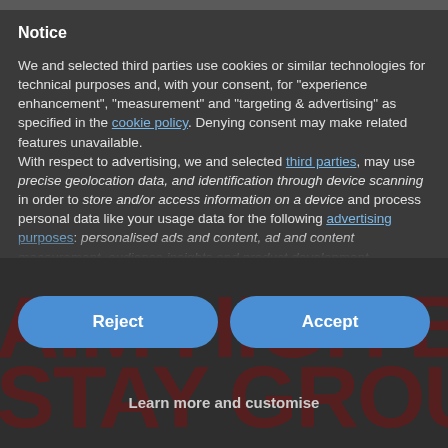Notice
We and selected third parties use cookies or similar technologies for technical purposes and, with your consent, for "experience enhancement", "measurement" and "targeting & advertising" as specified in the cookie policy. Denying consent may make related features unavailable.
With respect to advertising, we and selected third parties, may use precise geolocation data, and identification through device scanning in order to store and/or access information on a device and process personal data like your usage data for the following advertising purposes: personalised ads and content, ad and content measurement, audience insights and product development.
You can freely give, deny, or withdraw your consent at any time
[Figure (other): Two blue rounded buttons labelled Reject and Accept, with a watermark text AIM HIGH BUT visible behind them]
Learn more and customise
[Figure (other): Watermark text reading STAY GROUNDED in dark red large letters at the bottom of the page]